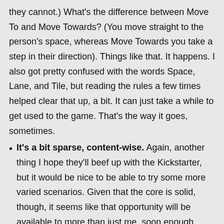they cannot.) What's the difference between Move To and Move Towards? (You move straight to the person's space, whereas Move Towards you take a step in their direction). Things like that. It happens. I also got pretty confused with the words Space, Lane, and Tile, but reading the rules a few times helped clear that up, a bit. It can just take a while to get used to the game. That's the way it goes, sometimes.
It's a bit sparse, content-wise. Again, another thing I hope they'll beef up with the Kickstarter, but it would be nice to be able to try some more varied scenarios. Given that the core is solid, though, it seems like that opportunity will be available to more than just me, soon enough.